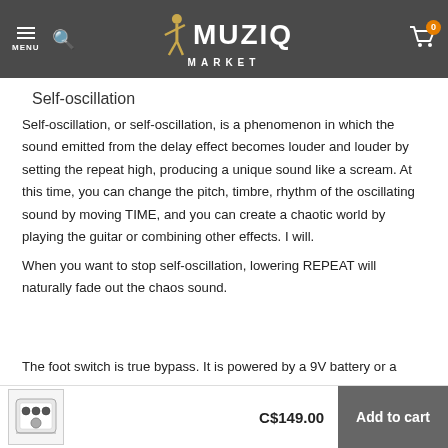MUZIQ MARKET
Self-oscillation
Self-oscillation, or self-oscillation, is a phenomenon in which the sound emitted from the delay effect becomes louder and louder by setting the repeat high, producing a unique sound like a scream. At this time, you can change the pitch, timbre, rhythm of the oscillating sound by moving TIME, and you can create a chaotic world by playing the guitar or combining other effects. I will.
When you want to stop self-oscillation, lowering REPEAT will naturally fade out the chaos sound.
The foot switch is true bypass. It is powered by a 9V battery or a
[Figure (photo): Small guitar effect pedal product thumbnail]
C$149.00
Add to cart